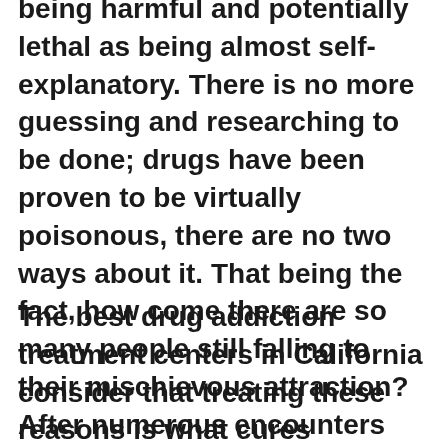being harmful and potentially lethal as being almost self-explanatory. There is no more guessing and researching to be done; drugs have been proven to be virtually poisonous, there are no two ways about it. That being the fact, how come there are so many people still falling to their mischievous attraction? After numerous encounters with victims of substance addiction of all ages, races and social statuses, we know that there are many reasons why people begin consuming drugs in the first place.
The best drug addiction treatment centers in California consider that treating these reasons is what cures addiction, instead of fighting the symptoms of the disease. Sure, the